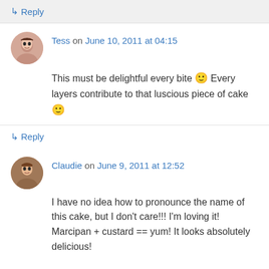↳ Reply
Tess on June 10, 2011 at 04:15
This must be delightful every bite 🙂 Every layers contribute to that luscious piece of cake 🙂
↳ Reply
Claudie on June 9, 2011 at 12:52
I have no idea how to pronounce the name of this cake, but I don't care!!! I'm loving it! Marcipan + custard == yum! It looks absolutely delicious!